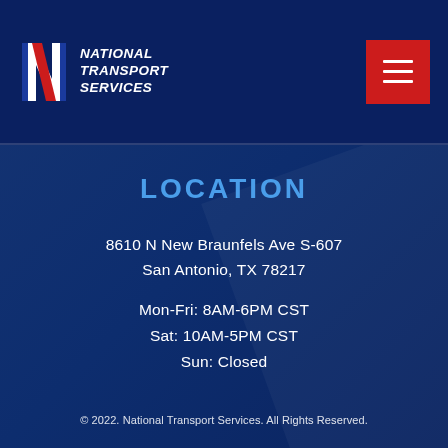[Figure (logo): National Transport Services logo with stylized N in red/white/blue and bold italic white text]
LOCATION
8610 N New Braunfels Ave S-607
San Antonio, TX 78217
Mon-Fri: 8AM-6PM CST
Sat: 10AM-5PM CST
Sun: Closed
© 2022. National Transport Services. All Rights Reserved.
Fully Licensed | DOT # 1069679 | MC # 3347682